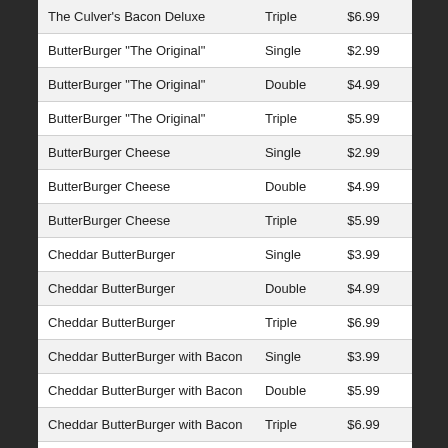| Item | Size | Price |
| --- | --- | --- |
| The Culver's Bacon Deluxe | Triple | $6.99 |
| ButterBurger "The Original" | Single | $2.99 |
| ButterBurger "The Original" | Double | $4.99 |
| ButterBurger "The Original" | Triple | $5.99 |
| ButterBurger Cheese | Single | $2.99 |
| ButterBurger Cheese | Double | $4.99 |
| ButterBurger Cheese | Triple | $5.99 |
| Cheddar ButterBurger | Single | $3.99 |
| Cheddar ButterBurger | Double | $4.99 |
| Cheddar ButterBurger | Triple | $6.99 |
| Cheddar ButterBurger with Bacon | Single | $3.99 |
| Cheddar ButterBurger with Bacon | Double | $5.99 |
| Cheddar ButterBurger with Bacon | Triple | $6.99 |
| Mushroom & Swiss | Single | $3.99 |
| Mushroom & Swiss | Double | $5.99 |